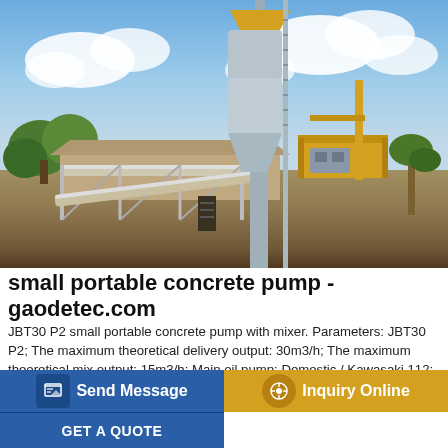[Figure (photo): Outdoor photo of a small portable concrete batching plant with a tall cylindrical cement silo tower in the center, a conveyor belt on the left, yellow metal platform structures on the right, set against a partly cloudy blue sky with trees and buildings in the background.]
small portable concrete pump - gaodetec.com
JBT30 P2 small portable concrete pump with mixer. Parameters: JBT30 P2; The maximum theoretical delivery output: 30m3/h; The maximum theoretical mix output: 15m3/h; Main oil pump: Domestic / Kawasaki 112; Mixer model:
Send Message
Inquiry Online
GET A QUOTE